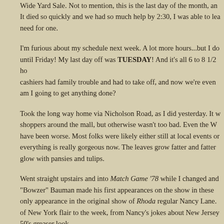Wide Yard Sale. Not to mention, this is the last day of the month, an... It died so quickly and we had so much help by 2:30, I was able to lea... need for one.
I'm furious about my schedule next week. A lot more hours...but I do... until Friday! My last day off was TUESDAY! And it's all 6 to 8 1/2 ho... cashiers had family trouble and had to take off, and now we're even... am I going to get anything done?
Took the long way home via Nicholson Road, as I did yesterday. It w... shoppers around the mall, but otherwise wasn't too bad. Even the W... have been worse. Most folks were likely either still at local events or... everything is really gorgeous now. The leaves grow fatter and fatter... glow with pansies and tulips.
Went straight upstairs and into Match Game '78 while I changed and... "Bowzer" Bauman made his first appearances on the show in these... only appearance in the original show of Rhoda regular Nancy Lane.... of New York flair to the week, from Nancy's jokes about New Jersey... 50's greaser look.
Watched A Cinderella Story: Once Upon a Song while going through...